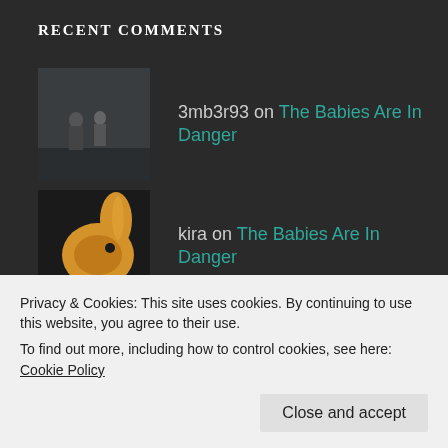RECENT COMMENTS
3mb3r93 on The Babies Are In Danger
kira on The Babies Are In Danger
3mb3r93 on The Babies Are In Danger
kira on The Babies Are In Danger
3mb3r93 on The Babies Are In Danger
Privacy & Cookies: This site uses cookies. By continuing to use this website, you agree to their use.
To find out more, including how to control cookies, see here: Cookie Policy
Close and accept